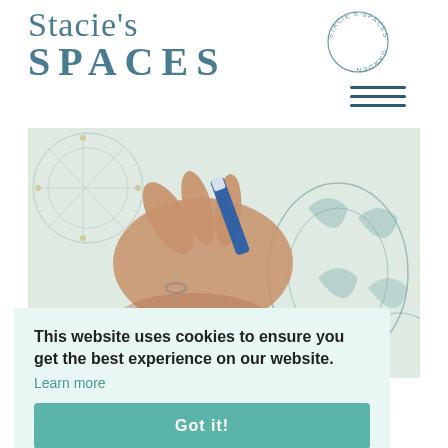[Figure (logo): Stacie's Spaces logo with script 'Stacie's' in teal and bold 'SPACES' in teal below]
[Figure (logo): Circular badge reading 'STACIE'S SPACES - HOME - GARDEN' in a circle, teal outline]
[Figure (illustration): Three horizontal dark teal lines forming a hamburger menu icon]
[Figure (photo): A hand holding a marker or pen tracing decorative floral/mandala wallpaper pattern in teal and gold]
This website uses cookies to ensure you get the best experience on our website.
Learn more
Got it!
of the